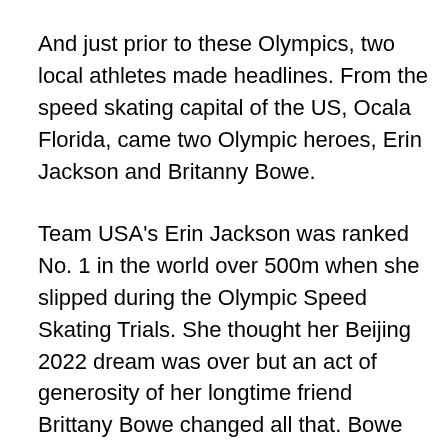And just prior to these Olympics, two local athletes made headlines. From the speed skating capital of the US, Ocala Florida, came two Olympic heroes, Erin Jackson and Britanny Bowe.
Team USA's Erin Jackson was ranked No. 1 in the world over 500m when she slipped during the Olympic Speed Skating Trials. She thought her Beijing 2022 dream was over but an act of generosity of her longtime friend Brittany Bowe changed all that. Bowe gave up her spot in the 500m (she competed in two other distance events at the games) so that her friend, the talented former Jax Roller Girl All Star and Florida Gator I might add, could compete, and win Olympic gold, becoming the first Black woman to ever win gold in the 500m speed skating event, and the first American woman since Bonnie Blair in 1994 to medal